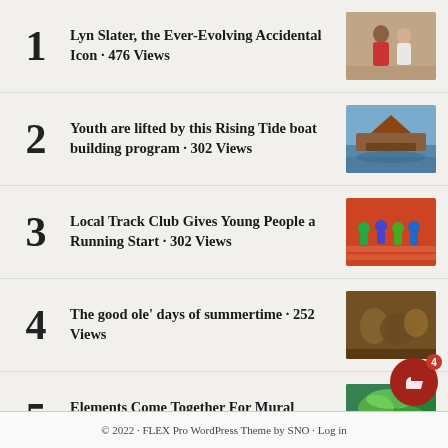Lyn Slater, the Ever-Evolving Accidental Icon · 476 Views
Youth are lifted by this Rising Tide boat building program · 302 Views
Local Track Club Gives Young People a Running Start · 302 Views
The good ole' days of summertime · 252 Views
Elements Come Together For Mural Arches · 224 Views
© 2022 · FLEX Pro WordPress Theme by SNO · Log in